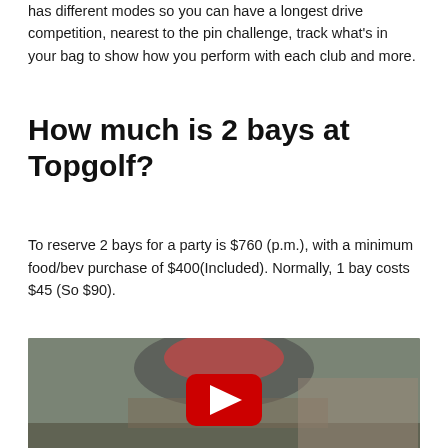has different modes so you can have a longest drive competition, nearest to the pin challenge, track what's in your bag to show how you perform with each club and more.
How much is 2 bays at Topgolf?
To reserve 2 bays for a party is $760 (p.m.), with a minimum food/bev purchase of $400(Included). Normally, 1 bay costs $45 (So $90).
[Figure (screenshot): YouTube video thumbnail showing golf club equipment, with a red YouTube play button overlay in the center.]